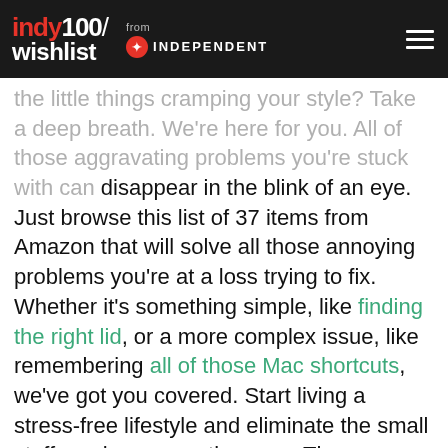indy100/ wishlist from INDEPENDENT
the little things cramping your style? Take a deep breath. We're here for you. All of those aggravating problems you're stuck with can disappear in the blink of an eye. Just browse this list of 37 items from Amazon that will solve all those annoying problems you're at a loss trying to fix. Whether it's something simple, like finding the right lid, or a more complex issue, like remembering all of those Mac shortcuts, we've got you covered. Start living a stress-free lifestyle and eliminate the small stuff you keep sweating over. These problem-solving products can help you get back on your A-game and allow you to focus on the things that really matter.